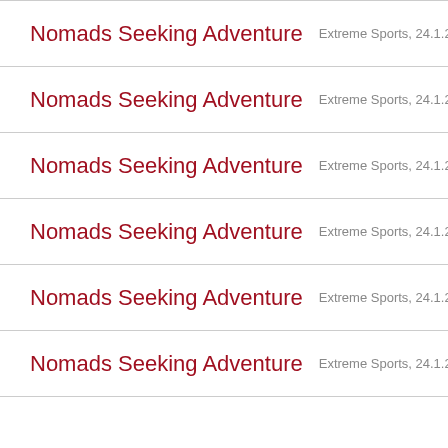Nomads Seeking Adventure   Extreme Sports, 24.1.22 ob
Nomads Seeking Adventure   Extreme Sports, 24.1.22 ob
Nomads Seeking Adventure   Extreme Sports, 24.1.22 ob
Nomads Seeking Adventure   Extreme Sports, 24.1.22 ob
Nomads Seeking Adventure   Extreme Sports, 24.1.22 ob
Nomads Seeking Adventure   Extreme Sports, 24.1.22 ob